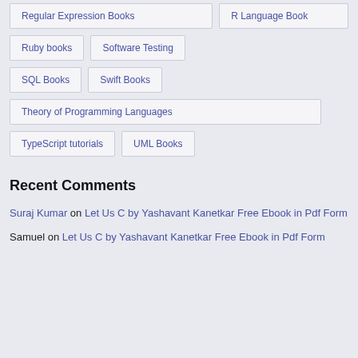Regular Expression Books
R Language Book
Ruby books
Software Testing
SQL Books
Swift Books
Theory of Programming Languages
TypeScript tutorials
UML Books
Recent Comments
Suraj Kumar on Let Us C by Yashavant Kanetkar Free Ebook in Pdf Form
Samuel on Let Us C by Yashavant Kanetkar Free Ebook in Pdf Form